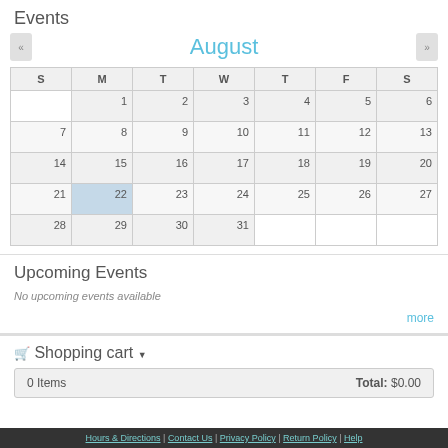Events
| S | M | T | W | T | F | S |
| --- | --- | --- | --- | --- | --- | --- |
|  | 1 | 2 | 3 | 4 | 5 | 6 |
| 7 | 8 | 9 | 10 | 11 | 12 | 13 |
| 14 | 15 | 16 | 17 | 18 | 19 | 20 |
| 21 | 22 | 23 | 24 | 25 | 26 | 27 |
| 28 | 29 | 30 | 31 |  |  |  |
Upcoming Events
No upcoming events available
more
Shopping cart
0 Items   Total: $0.00
Hours & Directions | Contact Us | Privacy Policy | Return Policy | Help